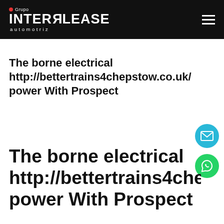Grupo INTERLEASE automotriz
The borne electrical http://bettertrains4chepstow.co.uk/ power With Prospect
The borne electrical http://bettertrains4cheps power With Prospect